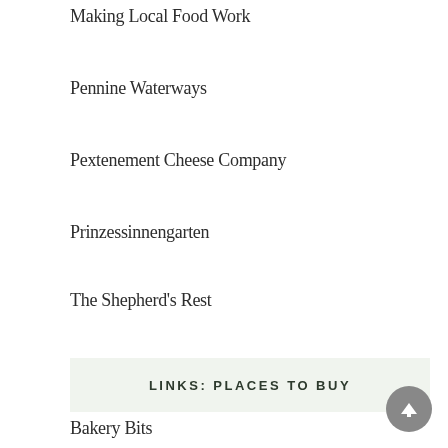Making Local Food Work
Pennine Waterways
Pextenement Cheese Company
Prinzessinnengarten
The Shepherd's Rest
Todmorden in Bloom
Top Brink Inn, Lumbutts, Todmorden
Totally Locally
LINKS: PLACES TO BUY
Bakery Bits